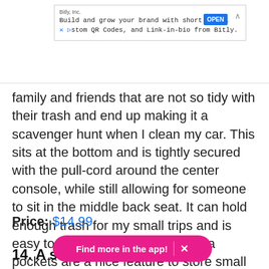[Figure (screenshot): Ad banner for Bitly, Inc. with text 'Build and grow your brand with short links, stom QR Codes, and Link-in-bio from Bitly.' with OPEN button and close arrow]
family and friends that are not so tidy with their trash and end up making it a scavenger hunt when I clean my car. This sits at the bottom and is tightly secured with the pull-cord around the center console, while still allowing for someone to sit in the middle back seat. It can hold enough trash for my small trips and is easy to dump and clean. The extra pockets are a nice feature to store small snacks and other miscellaneous items." —Mitchell
Price: $14.99
[Figure (infographic): Pink pill-shaped banner overlay reading 'Find more in the app!' with an X close button]
14. A sleek [obscured] B car [partially visible text below]